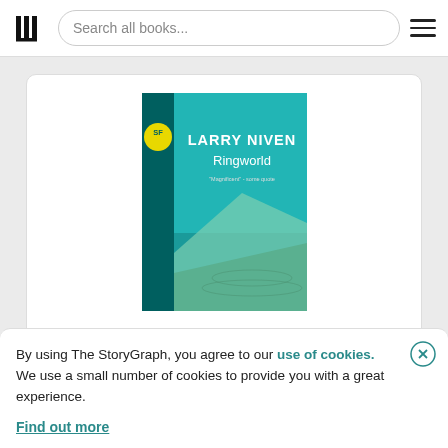Search all books...
[Figure (illustration): Book cover of Ringworld by Larry Niven, SF Masterworks edition. Teal/turquoise background with a yellow SF badge on the left spine, white title text 'LARRY NIVEN Ringworld', and an illustrated landscape showing a sweeping curved surface.]
By using The StoryGraph, you agree to our use of cookies.
We use a small number of cookies to provide you with a great experience.
Find out more
Ringworld #1